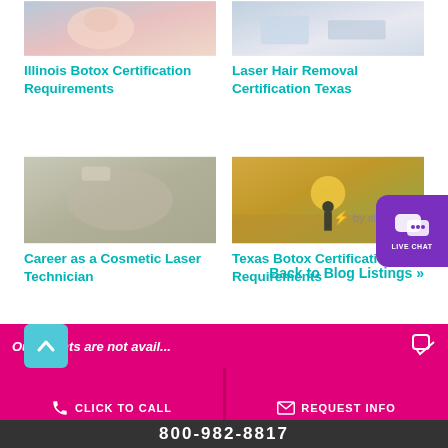[Figure (photo): Medical professional performing cosmetic procedure on patient face - top left]
Illinois Botox Certification Requirements
[Figure (photo): Medical lab setting with equipment - top right]
Laser Hair Removal Certification Texas
[Figure (photo): Overhead view of cosmetic laser technician treating patient]
Career as a Cosmetic Laser Technician
[Figure (photo): Person in cowboy hat standing in wheat field at sunset - Texas Botox]
Texas Botox Certification Requirements
by shareaholic
Back to Blog Listings »
Our agents are not avail...
CLICK TO CALL
REQUEST INFO